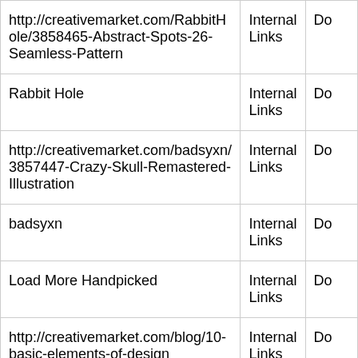| URL/Text | Type | Do... |
| --- | --- | --- |
| http://creativemarket.com/RabbitHole/3858465-Abstract-Spots-26-Seamless-Pattern | Internal Links | Do |
| Rabbit Hole | Internal Links | Do |
| http://creativemarket.com/badsyxn/3857447-Crazy-Skull-Remastered-Illustration | Internal Links | Do |
| badsyxn | Internal Links | Do |
| Load More Handpicked | Internal Links | Do |
| http://creativemarket.com/blog/10-basic-elements-of-design | Internal Links | Do |
| Design Trends | Internal Links | Do |
| Maryam Taheri | Internal Links | Do |